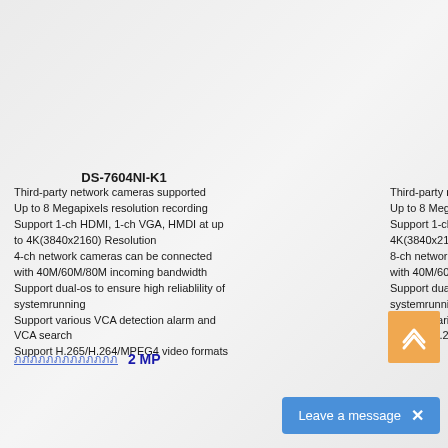DS-7604NI-K1
Third-party network cameras supported
Up to 8 Megapixels resolution recording
Support 1-ch HDMI, 1-ch VGA, HMDI at up to 4K(3840x2160) Resolution
4-ch network cameras can be connected with 40M/60M/80M incoming bandwidth
Support dual-os to ensure high reliablility of systemrunning
Support various VCA detection alarm and VCA search
Support H.265/H.264/MPEG4 video formats
ภภภภภภภภภภภภภ  2 MP
Third-party network cameras supported (right column, truncated)
Up to 8 Megapixels resolution recording (right column, truncated)
Support 1-ch HDMI (right column, truncated)
4K(3840x2160) Resolution (right column, truncated)
8-ch network cameras (right column, truncated)
with 40M/60M/80M (right column, truncated)
Support dual-os to (right column, truncated)
systemrunning (right column, truncated)
Support various VCA (right column, truncated)
Support H.265/H. (right column, truncated)